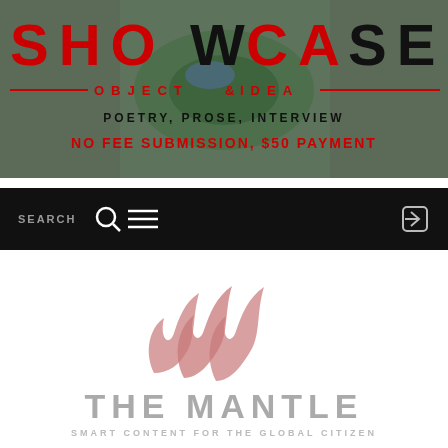[Figure (screenshot): Showcase magazine banner with aerial city/park background. Large text 'SHOWCASE' with alternating red and black letters. Below: 'OBJECT & IDEA' in red with red horizontal lines. Then 'POETRY, PROSE, INTERVIEW' in dark text. Then 'NO FEE SUBMISSION, $50 PAYMENT' in red bold text.]
[Figure (screenshot): Black navigation bar with 'SEARCH' text on left, search/menu icons in center, and share icon on right.]
[Figure (logo): The Mantle logo: three overlapping wave/flame shapes in muted red/pink, with 'THE MANTLE' in large gray letters below and 'SMART CONTENT FOR THE GLOBAL CITIZEN' in smaller gray letters beneath.]